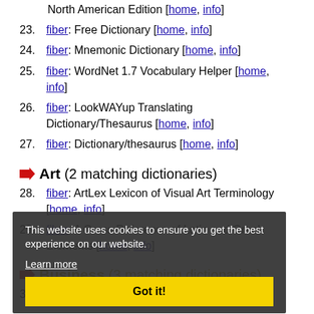North American Edition [home, info]
23. fiber: Free Dictionary [home, info]
24. fiber: Mnemonic Dictionary [home, info]
25. fiber: WordNet 1.7 Vocabulary Helper [home, info]
26. fiber: LookWAYup Translating Dictionary/Thesaurus [home, info]
27. fiber: Dictionary/thesaurus [home, info]
Art (2 matching dictionaries)
28. fiber: ArtLex Lexicon of Visual Art Terminology [home, info]
29. fiber: A Cross Reference of Latin and Greek Elements [home, info]
Business (3 matching dictionaries)
30. Fiber: Construction Term Glossary [home, info]